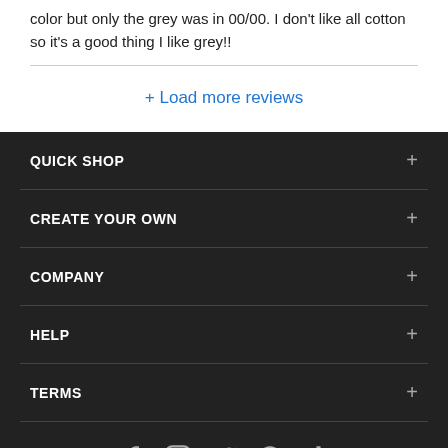color but only the grey was in 00/00. I don't like all cotton so it's a good thing I like grey!!
+ Load more reviews
QUICK SHOP
CREATE YOUR OWN
COMPANY
HELP
TERMS
[Figure (infographic): Social media icons: Facebook, Instagram, Twitter, Pinterest, TikTok]
[Figure (other): Payment method icons bar]